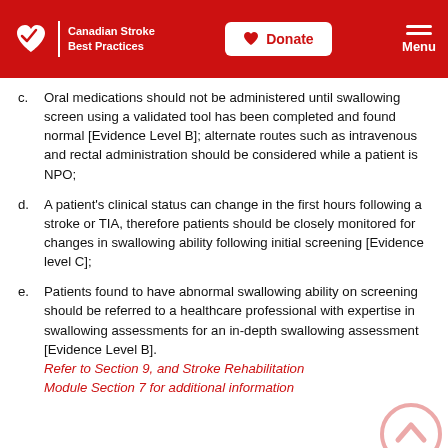Canadian Stroke Best Practices | Donate | Menu
c. Oral medications should not be administered until swallowing screen using a validated tool has been completed and found normal [Evidence Level B]; alternate routes such as intravenous and rectal administration should be considered while a patient is NPO;
d. A patient's clinical status can change in the first hours following a stroke or TIA, therefore patients should be closely monitored for changes in swallowing ability following initial screening [Evidence level C];
e. Patients found to have abnormal swallowing ability on screening should be referred to a healthcare professional with expertise in swallowing assessments for an in-depth swallowing assessment [Evidence Level B]. Refer to Section 9, and Stroke Rehabilitation Module Section 7 for additional information